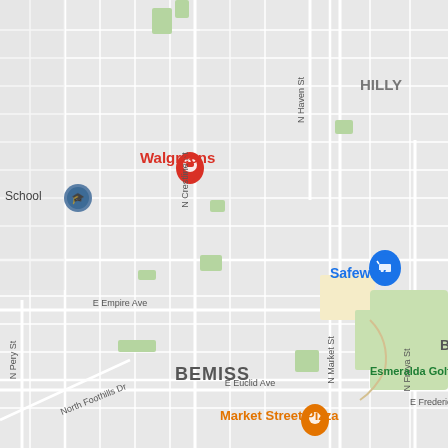[Figure (map): Google Maps street map showing the Bemiss neighborhood in Spokane, WA. Visible landmarks include Walgreens (with red pin), a School (with blue pin), Safeway (with blue shopping cart pin), Market Street Pizza (with orange pin), and Esmeralda Golf Course (green text). Major streets labeled include N Crestline St, N Haven St, N Market St, N Freya St, N Perry St, E Empire Ave, E Euclid Ave, E Frederick, and North Foothills Dr. The neighborhood name BEMISS is displayed in bold. HILLY text visible in upper right corner. Map background is light gray with white street lines and green park areas.]